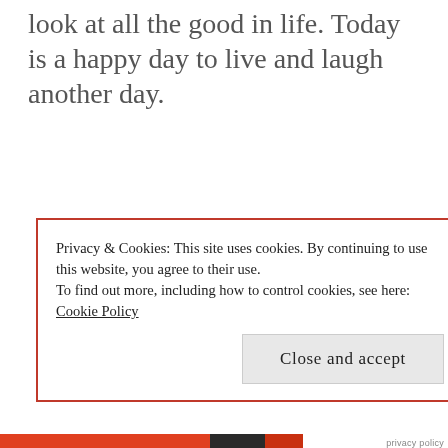look at all the good in life. Today is a happy day to live and laugh another day.
Privacy & Cookies: This site uses cookies. By continuing to use this website, you agree to their use.
To find out more, including how to control cookies, see here: Cookie Policy
Close and accept